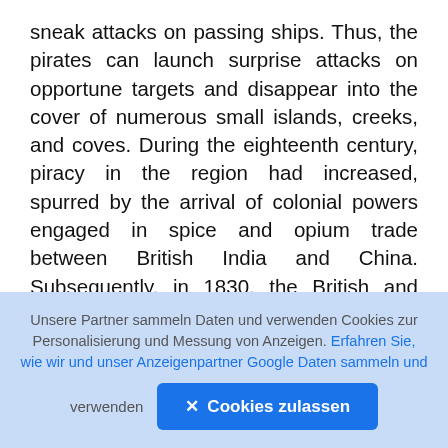sneak attacks on passing ships. Thus, the pirates can launch surprise attacks on opportune targets and disappear into the cover of numerous small islands, creeks, and coves. During the eighteenth century, piracy in the region had increased, spurred by the arrival of colonial powers engaged in spice and opium trade between British India and China. Subsequently, in 1830, the British and Dutch naval forces joined hands to combat piracy in the region. By 1870, piracy in the straits had almost disappeared. Piracy re-emerged in the region towards the end of the twentieth century when the Asian financial crisis of 1997 resulted in widespread unemployment, poverty, and slow economic
Unsere Partner sammeln Daten und verwenden Cookies zur Personalisierung und Messung von Anzeigen. Erfahren Sie, wie wir und unser Anzeigenpartner Google Daten sammeln und verwenden